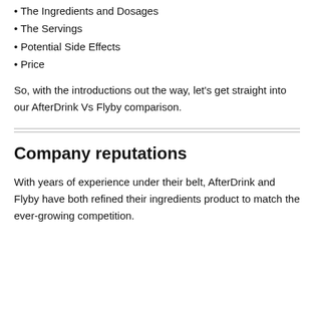• The Ingredients and Dosages
• The Servings
• Potential Side Effects
• Price
So, with the introductions out the way, let's get straight into our AfterDrink Vs Flyby comparison.
Company reputations
With years of experience under their belt, AfterDrink and Flyby have both refined their ingredients product to match the ever-growing competition.